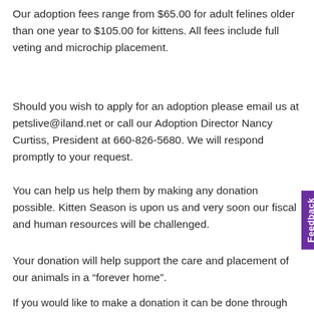Our adoption fees range from $65.00 for adult felines older than one year to $105.00 for kittens. All fees include full veting and microchip placement.
Should you wish to apply for an adoption please email us at petslive@iland.net or call our Adoption Director Nancy Curtiss, President at 660-826-5680. We will respond promptly to your request.
You can help us help them by making any donation possible. Kitten Season is upon us and very soon our fiscal and human resources will be challenged.
Your donation will help support the care and placement of our animals in a “forever home”.
If you would like to make a donation it can be done through Pay Pal. Our Pay Pal account is: petslive@iland.net